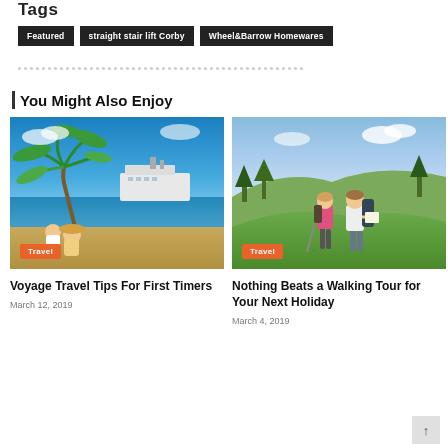Tags
Featured
straight stair lift Corby
Wheel&Barrow Homewares
You Might Also Enjoy
[Figure (photo): Two people sitting on a tropical beach with a palm tree and a cruise ship in the background. A Travel badge overlay in the bottom left.]
Voyage Travel Tips For First Timers
March 12, 2019
[Figure (photo): Two hikers with backpacks on a green hillside, one holding a map. A Travel badge overlay in the bottom left.]
Nothing Beats a Walking Tour for Your Next Holiday
March 4, 2019